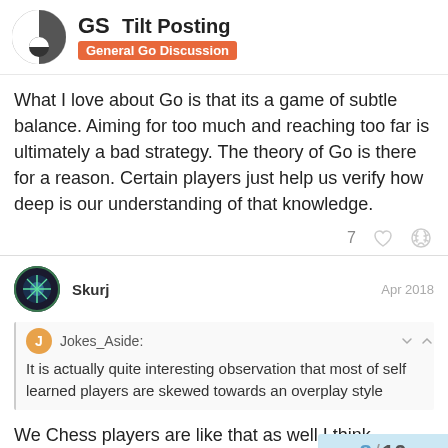Tilt Posting — General Go Discussion
What I love about Go is that its a game of subtle balance. Aiming for too much and reaching too far is ultimately a bad strategy. The theory of Go is there for a reason. Certain players just help us verify how deep is our understanding of that knowledge.
Skurj  Apr 2018
Jokes_Aside: It is actually quite interesting observation that most of self learned players are skewed towards an overplay style
We Chess players are like that as well I thi playing as if every engagement is an all-or